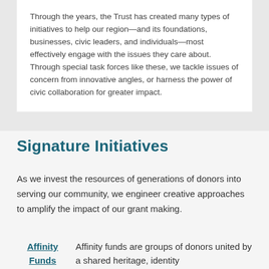Through the years, the Trust has created many types of initiatives to help our region—and its foundations, businesses, civic leaders, and individuals—most effectively engage with the issues they care about. Through special task forces like these, we tackle issues of concern from innovative angles, or harness the power of civic collaboration for greater impact.
Signature Initiatives
As we invest the resources of generations of donors into serving our community, we engineer creative approaches to amplify the impact of our grant making.
Affinity Funds   Affinity funds are groups of donors united by a shared heritage, identity